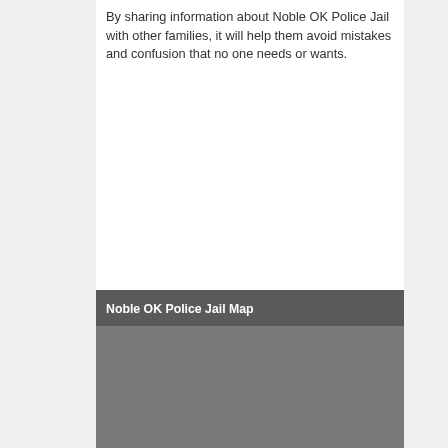By sharing information about Noble OK Police Jail with other families, it will help them avoid mistakes and confusion that no one needs or wants.
Noble OK Police Jail Map
[Figure (map): Map placeholder area for Noble OK Police Jail location, shown as a grey rectangle]